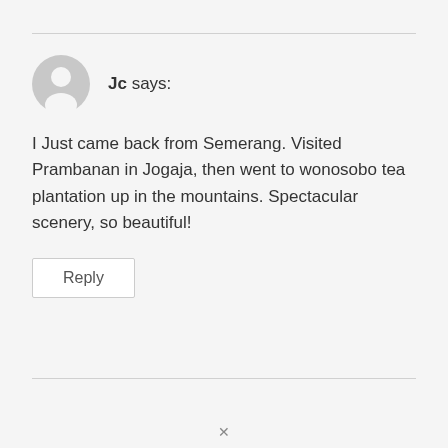Jc says:
I Just came back from Semerang. Visited Prambanan in Jogaja, then went to wonosobo tea plantation up in the mountains. Spectacular scenery, so beautiful!
Reply